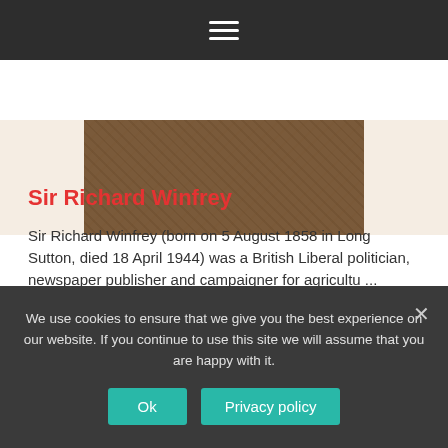Navigation menu (hamburger icon)
[Figure (photo): Partial photograph of a person wearing a brown tweed jacket, cropped at shoulder/chest area, against a light beige background]
Sir Richard Winfrey
Sir Richard Winfrey (born on 5 August 1858 in Long Sutton, died 18 April 1944) was a British Liberal politician, newspaper publisher and campaigner for agricultu ...
Read More
We use cookies to ensure that we give you the best experience on our website. If you continue to use this site we will assume that you are happy with it.
Ok
Privacy policy